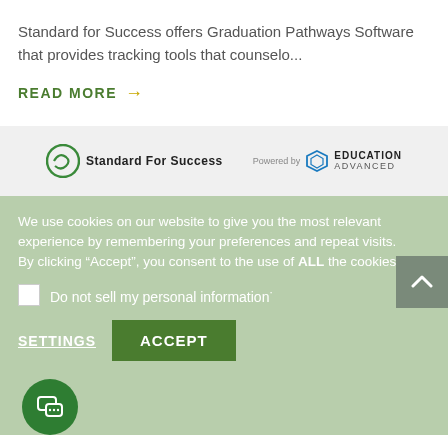Standard for Success offers Graduation Pathways Software that provides tracking tools that counselo...
READ MORE →
[Figure (logo): Standard For Success logo and Education Advanced powered-by logo]
We use cookies on our website to give you the most relevant experience by remembering your preferences and repeat visits.
By clicking "Accept", you consent to the use of ALL the cookies.
Do not sell my personal information·
SETTINGS
ACCEPT